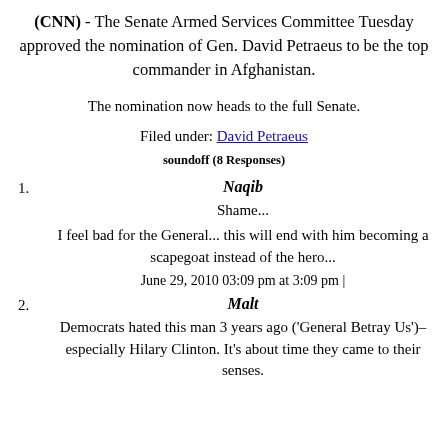(CNN) - The Senate Armed Services Committee Tuesday approved the nomination of Gen. David Petraeus to be the top commander in Afghanistan.
The nomination now heads to the full Senate.
Filed under: David Petraeus
soundoff (8 Responses)
1. Naqib
Shame...
I feel bad for the General... this will end with him becoming a scapegoat instead of the hero...
June 29, 2010 03:09 pm at 3:09 pm |
2. Malt
Democrats hated this man 3 years ago ('General Betray Us')– especially Hilary Clinton. It's about time they came to their senses.